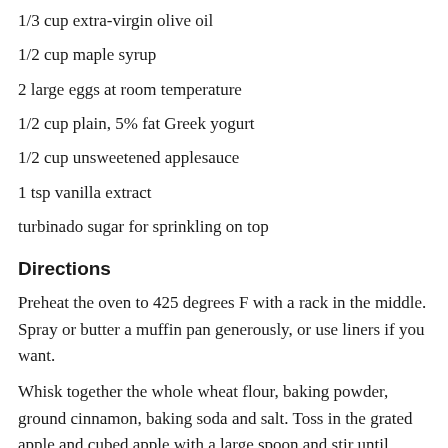1/3 cup extra-virgin olive oil
1/2 cup maple syrup
2 large eggs at room temperature
1/2 cup plain, 5% fat Greek yogurt
1/2 cup unsweetened applesauce
1 tsp vanilla extract
turbinado sugar for sprinkling on top
Directions
Preheat the oven to 425 degrees F with a rack in the middle. Spray or butter a muffin pan generously, or use liners if you want.
Whisk together the whole wheat flour, baking powder, ground cinnamon, baking soda and salt. Toss in the grated apple and cubed apple with a large spoon and stir until everything is well combined.